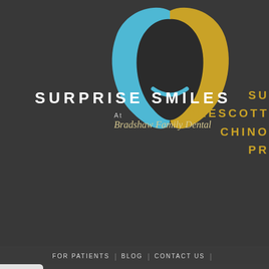[Figure (logo): Surprise Smiles dental practice logo: tooth shape in blue and gold on dark background with 'At Bradshaw Family Dental' script text]
SURPRISE SMILES
SU
PRESCOTT
CHINO
PR
FOR PATIENTS | BLOG | CONTACT US |
HOME | ABOUT US | DENTAL SERVICES |
REQUEST AN APPOINTMENT
SIGN UP FOR E-NEWSLETTER
REFER A FRIEND
Accessibility